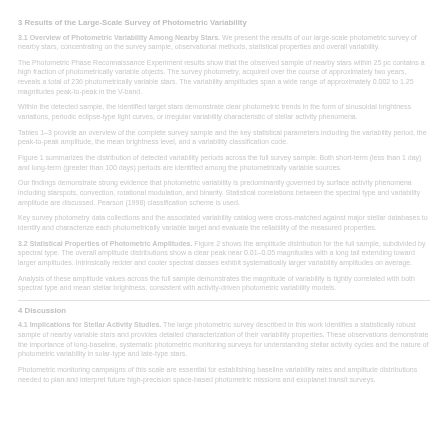3 Results of the Large-Scale Survey of Photometric Variability
3.1 Overview of Photometric Variability Among Nearby Stars. We present the results of our large-scale photometric survey of nearby stars, concentrating on the survey sample, observational methods, statistical properties and overall variability.
The Photometric Phase Reconnaissance Experiment results show that the observed sample of nearby stars within 25 pc contains a high fraction of photometrically variable objects. The survey photometry, acquired over the course of approximately two years, reveals a total of 236 photometrically variable stars. The variability amplitudes span a wide range of approximately 0.002 to 1.25 magnitudes peak-to-peak in the V-band.
Within the detected sample, the identified target stars demonstrate clear photometric trends in the form of sinusoidal brightness variations, periodic eclipse-type light curves, or irregular variability characteristic of stellar activity phenomena.
Tables 1–3 provide an overview of the complete survey sample and the key statistical parameters including the variability period, the peak-to-peak amplitude, the mean brightness level, and a variability classification code.
Figure 1 summarizes the distribution of detected variability periods across the full survey sample. Both short-term (less than 1 day) and long-term (greater than 100 days) periods are identified among the photometrically variable sources.
Our findings demonstrate strong evidence that photometric variability is predominantly governed by surface activity phenomena including starspots, convection, rotational modulation, and binarity. Statistical correlations between the spectral type and variability amplitude are discussed. Pearson (1998) classification scheme is used.
Key survey photometry data collections and the associated variability catalog were cross-matched against major stellar databases to identify and characterize each photometrically variable target and evaluate the reliability of the measured properties.
3.2 Statistical Properties of Photometric Amplitudes. Figure 2 shows the amplitude distribution for the full sample, subdivided by spectral type. The overall amplitude distributions show a clear peak near 0.01–0.05 magnitudes with a long tail extending toward larger amplitudes. Intrinsically redder and cooler spectral classes exhibit systematically larger variability amplitudes on average.
Analysis of these amplitude values across the full sample demonstrates the magnitude of variability is tightly correlated with both spectral type and mean stellar brightness, consistent with activity-driven photometric variability models.
4 Discussion
4.1 Implications for Stellar Activity Studies. The large photometric survey described in this work identifies a statistically robust sample of nearby variable stars and provides detailed characterization of their variability properties. These observations demonstrate the importance of long-baseline, systematic photometric monitoring surveys for understanding stellar activity cycles and the nature of photometric variability in solar-type and late-type stars.
Photometric monitoring campaigns of this scale are essential for establishing baseline variability rates and amplitude distributions needed to plan and interpret future high-precision space-based photometric missions and exoplanet transit surveys.